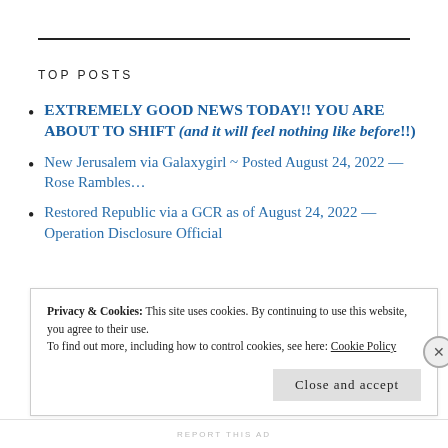TOP POSTS
EXTREMELY GOOD NEWS TODAY!! YOU ARE ABOUT TO SHIFT (and it will feel nothing like before!!)
New Jerusalem via Galaxygirl ~ Posted August 24, 2022 — Rose Rambles…
Restored Republic via a GCR as of August 24, 2022 — Operation Disclosure Official
Privacy & Cookies: This site uses cookies. By continuing to use this website, you agree to their use. To find out more, including how to control cookies, see here: Cookie Policy
Close and accept